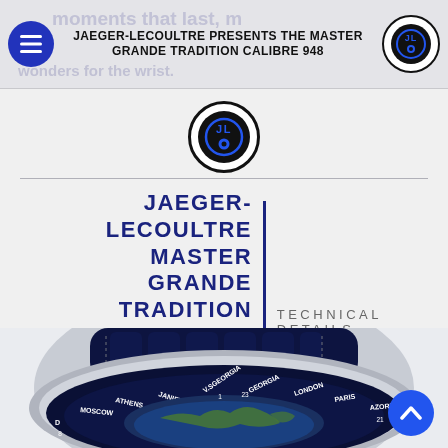JAEGER-LECOULTRE PRESENTS THE MASTER GRANDE TRADITION CALIBRE 948
[Figure (logo): Jaeger-LeCoultre circular logo with stylized 'JL' monogram on dark background]
JAEGER-LECOULTRE MASTER GRANDE TRADITION CALIBRE 948 | TECHNICAL DETAILS
[Figure (photo): Close-up of the Jaeger-LeCoultre Master Grande Tradition Calibre 948 watch with navy blue alligator strap and blue enamel world-time dial showing city names]